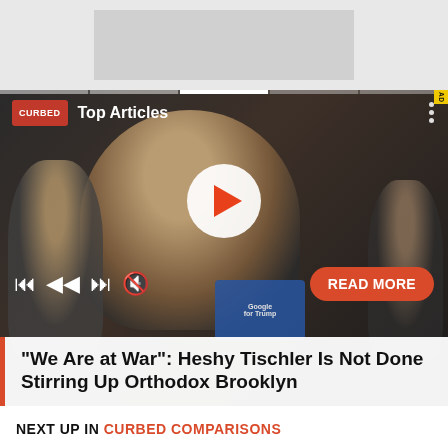[Figure (screenshot): Top advertisement banner with gray placeholder box]
[Figure (screenshot): Video player card showing a man with Google for Trump badge and a masked person; Curbed 'Top Articles' branding with play button, media controls, READ MORE button, and article title overlay]
"We Are at War": Heshy Tischler Is Not Done Stirring Up Orthodox Brooklyn
NEXT UP IN CURBED COMPARISONS